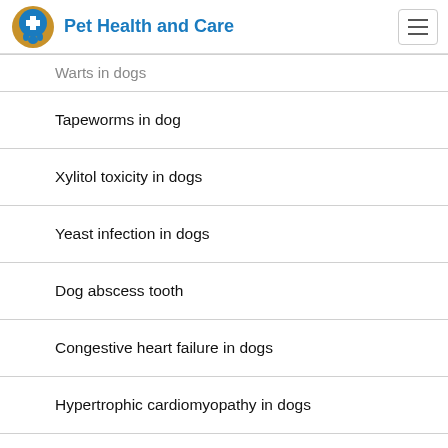Pet Health and Care
Warts in dogs
Tapeworms in dog
Xylitol toxicity in dogs
Yeast infection in dogs
Dog abscess tooth
Congestive heart failure in dogs
Hypertrophic cardiomyopathy in dogs